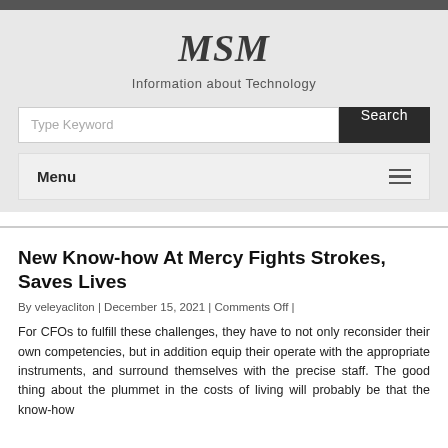MSM
Information about Technology
New Know-how At Mercy Fights Strokes, Saves Lives
By veleyacliton | December 15, 2021 | Comments Off |
For CFOs to fulfill these challenges, they have to not only reconsider their own competencies, but in addition equip their operate with the appropriate instruments, and surround themselves with the precise staff. The good thing about the plummet in the costs of living will probably be that the know-how